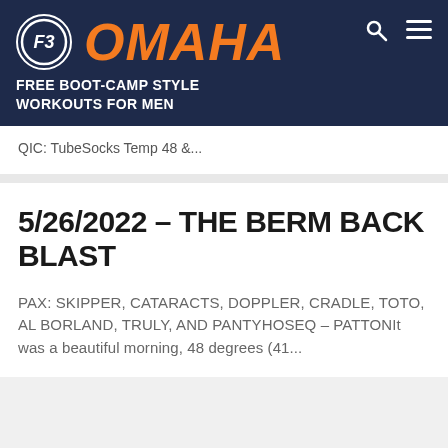F3 OMAHA — FREE BOOT-CAMP STYLE WORKOUTS FOR MEN
QIC: TubeSocks Temp 48 &...
5/26/2022 – THE BERM BACK BLAST
PAX: SKIPPER, CATARACTS, DOPPLER, CRADLE, TOTO, AL BORLAND, TRULY, AND PANTYHOSEQ – PATTONIt was a beautiful morning, 48 degrees (41...